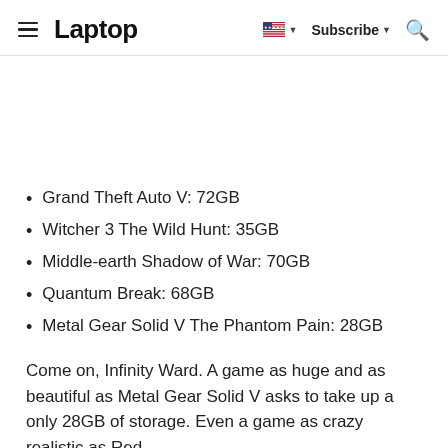Laptop — Subscribe — Search
Grand Theft Auto V: 72GB
Witcher 3 The Wild Hunt: 35GB
Middle-earth Shadow of War: 70GB
Quantum Break: 68GB
Metal Gear Solid V The Phantom Pain: 28GB
Come on, Infinity Ward. A game as huge and as beautiful as Metal Gear Solid V asks to take up a only 28GB of storage. Even a game as crazy realistic as Red